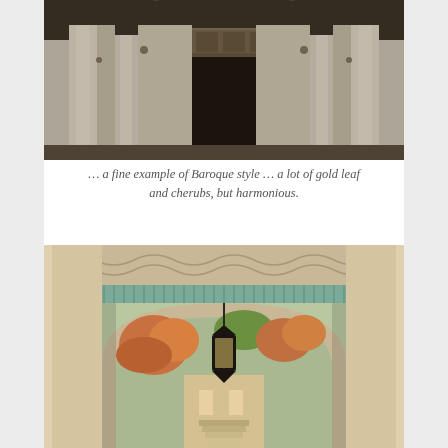[Figure (photo): Interior looking up at grand Baroque building columns and ornate balcony/gallery with sculptural details, viewed from below in a dim light.]
… a fine example of Baroque style … a lot of gold leaf and cherubs, but harmonious.
[Figure (photo): Architectural passageway with a large stone arch, ornate ceiling with green cornice and decorative plasterwork, a hanging black lantern, and beyond the arch a garden with autumn-colored climbing plants.]